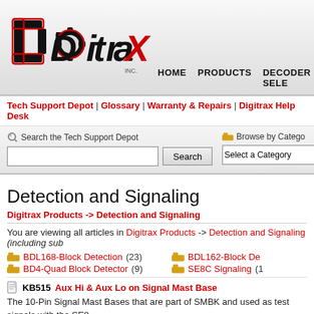[Figure (logo): Digitrax Inc. logo with red and black stylized text]
HOME   PRODUCTS   DECODER SELE...
Tech Support Depot | Glossary | Warranty & Repairs | Digitrax Help Desk
Search the Tech Support Depot   Browse by Category
Detection and Signaling
Digitrax Products -> Detection and Signaling
You are viewing all articles in Digitrax Products -> Detection and Signaling (including sub...
BDL168-Block Detection (23)
BDL162-Block De...
BD4-Quad Block Detector (9)
SE8C Signaling (1...
KB515 Aux Hi & Aux Lo on Signal Mast Base
The 10-Pin Signal Mast Bases that are part of SMBK and used as test signals with the SE8... implemented and are reserved for future use.